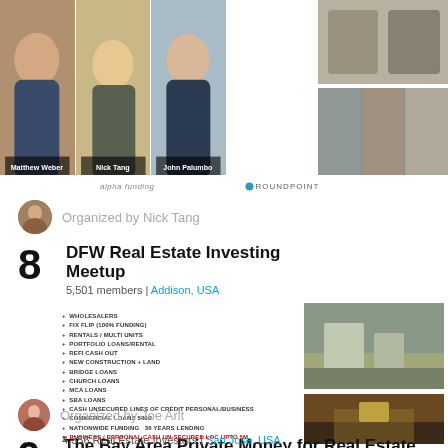[Figure (photo): Headshots of Matthew Weber, Nick Tang, John Palumbo and thumbnail images on the right]
alpha funding   ROUNDPOINT
Organized by Nick Tang
8  DFW Real Estate Investing Meetup
5,501 members | Addison, USA
WHOLESALERS
FIX FLIP (100% funding)
RENTALS / MULTI UNITS
PORTFOLIO LOANS/RENTAL
REFI CASH OUT
NEW CONSTRUCTION + LAND
BRIDGE LOANS
CHURCH LOANS
MCA LOANS
SBA LOANS
CASH UNSECURED LINES OF CREDIT PERSONAL/BUSINESS
COMMERCIAL LOANS 500B
NATIONWIDE FUNDING  36 YEARS LENDING
BUSINESS / PERSONAL CASH UN-SECURED LOC UPTO 5M
[Figure (photo): Building exterior photo]
[Figure (photo): Conference hall interior photo]
Organized by Joe Arlt
9  The Bay Area Private Money for Real Estate Investors Meetup
4,356 Real Estate Investors | San Jose, USA